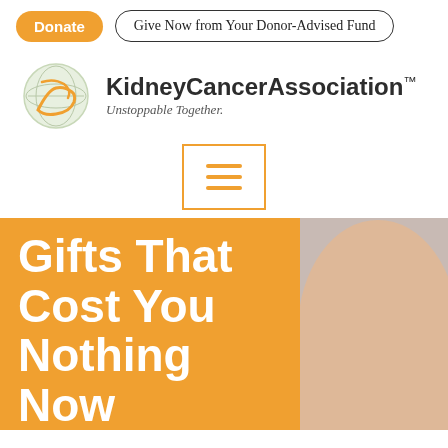Donate | Give Now from Your Donor-Advised Fund
[Figure (logo): KidneyCancerAssociation logo: globe with orange ribbon, text 'KidneyCancerAssociation™ Unstoppable Together.']
[Figure (other): Hamburger menu icon in orange-bordered box]
Gifts That Cost You Nothing Now